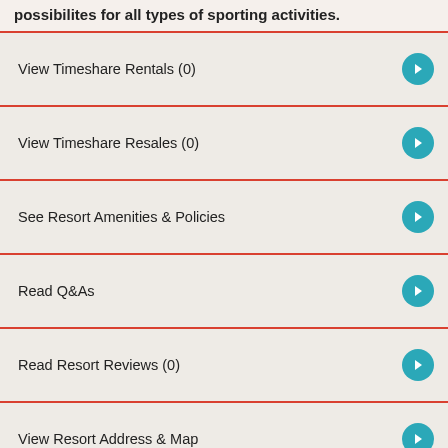possibilites for all types of sporting activities.
View Timeshare Rentals (0)
View Timeshare Resales (0)
See Resort Amenities & Policies
Read Q&As
Read Resort Reviews (0)
View Resort Address & Map
Discuss This Resort